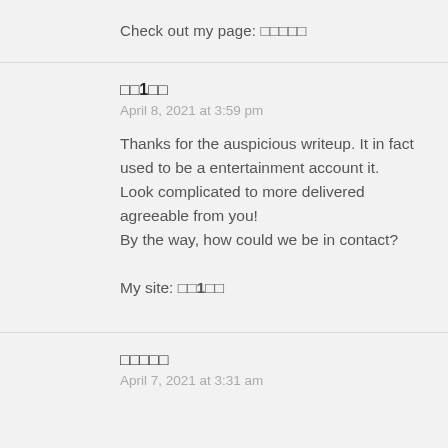Check out my page: □□□□□
□□1□□
April 8, 2021 at 3:59 pm
Thanks for the auspicious writeup. It in fact used to be a entertainment account it.
Look complicated to more delivered agreeable from you!
By the way, how could we be in contact?

My site: □□1□□
□□□□□
April 7, 2021 at 3:31 am